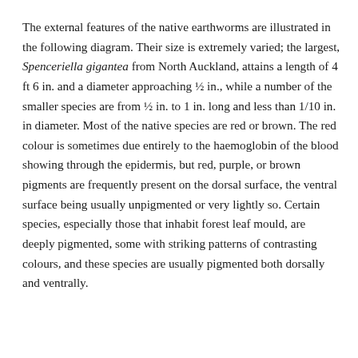The external features of the native earthworms are illustrated in the following diagram. Their size is extremely varied; the largest, Spenceriella gigantea from North Auckland, attains a length of 4 ft 6 in. and a diameter approaching ½ in., while a number of the smaller species are from ½ in. to 1 in. long and less than 1/10 in. in diameter. Most of the native species are red or brown. The red colour is sometimes due entirely to the haemoglobin of the blood showing through the epidermis, but red, purple, or brown pigments are frequently present on the dorsal surface, the ventral surface being usually unpigmented or very lightly so. Certain species, especially those that inhabit forest leaf mould, are deeply pigmented, some with striking patterns of contrasting colours, and these species are usually pigmented both dorsally and ventrally.